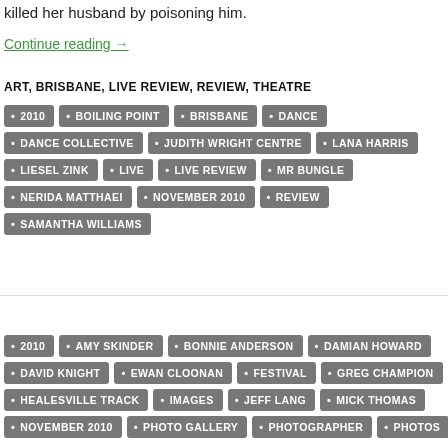killed her husband by poisoning him.
Continue reading →
ART, BRISBANE, LIVE REVIEW, REVIEW, THEATRE
• 2010  • BOILING POINT  • BRISBANE  • DANCE
• DANCE COLLECTIVE  • JUDITH WRIGHT CENTRE  • LANA HARRIS
• LIESEL ZINK  • LIVE  • LIVE REVIEW  • MR BUNGLE
• NERIDA MATTHAEI  • NOVEMBER 2010  • REVIEW
• SAMANTHA WILLIAMS
• 2010  • AMY SKINDER  • BONNIE ANDERSON  • DAMIAN HOWARD
• DAVID KNIGHT  • EWAN CLOONAN  • FESTIVAL  • GREG CHAMPION
• HEALESVILLE TRACK  • IMAGES  • JEFF LANG  • MICK THOMAS
• NOVEMBER 2010  • PHOTO GALLERY  • PHOTOGRAPHER  • PHOTOS